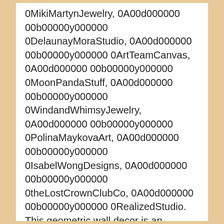0MikiMartynJewelry, 0A00d000000 00b00000y000000 0DelaunayMoraStudio, 0A00d000000 00b00000y000000 0ArtTeamCanvas, 0A00d000000 00b00000y000000 0MoonPandaStuff, 0A00d000000 00b00000y000000 0WindandWhimsyJewelry, 0A00d000000 00b00000y000000 0PolinaMaykovaArt, 0A00d000000 00b00000y000000 0IsabelWongDesigns, 0A00d000000 00b00000y000000 0theLostCrownClubCo, 0A00d000000 00b00000y000000 0RealizedStudio. This geometric wall decor is an excellent way to bring modern simplicity into your home with little to no effort. Make sure you look as good as your home does with the range of cheap mirrors from B&M. Don't miss out on these Zingz & Thingz mirrors savings. Her interiors are always inviting, comfortable and timeless. Inspired by geometric shapes, this mirror has a unique oblong octagon shape with